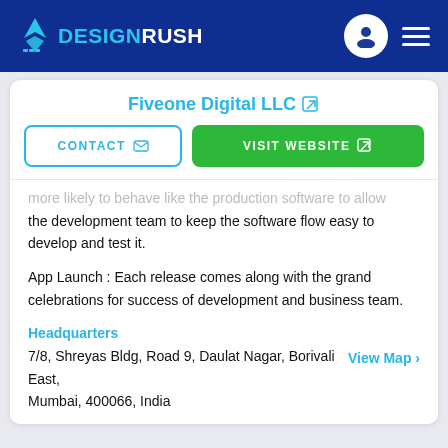DESIGNRUSH
Fiveone Digital LLC
CONTACT  |  VISIT WEBSITE
more likely to behave like the production software to allow the development team to keep the software flow easy to develop and test it.
App Launch : Each release comes along with the grand celebrations for success of development and business team.
Headquarters
7/8, Shreyas Bldg, Road 9, Daulat Nagar, Borivali East, Mumbai, 400066, India